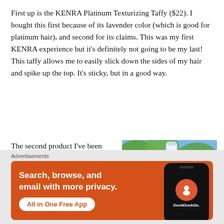First up is the KENRA Platinum Texturizing Taffy ($22). I bought this first because of its lavender color (which is good for platinum hair), and second for its claims. This was my first KENRA experience but it's definitely not going to be my last! This taffy allows me to easily slick down the sides of my hair and spike up the top. It's sticky, but in a good way.
The second product I've been loving is the Aquage Transforming Paste Lite ($24). This
[Figure (photo): Photo of Aquage hair product bottle against blue sky with green leaves and pink flowers]
Advertisements
[Figure (infographic): DuckDuckGo advertisement banner with orange background. Text reads: Search, browse, and email with more privacy. All in One Free App. Shows a smartphone with DuckDuckGo logo.]